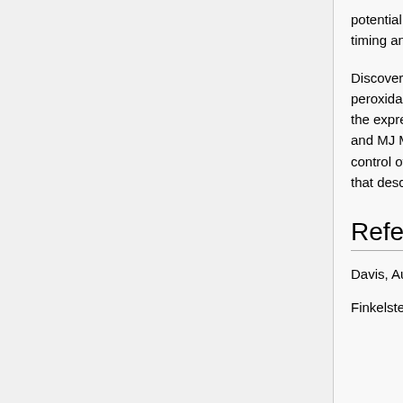potential genes have been identified, they will then conduct further research concerning the timing and location of gene expression in colonized host tissues.
Discoveries have been made that Vibrio fischeri de-regulates the expression of the peroxidase gene in tissues where it acts as a beneficial symbiont and conversely up-regulates the expression of the peroxidase gene in tissues where it is viewed as a pathogen (Small, AL and MJ McFall-Ngai). This illustrates the fact that some of the same genes are involved in the control of beneficial and pathogenic associations. Therefore, it is the modulation of the genes that describes the outcome of the relationship.
References
Davis, Aubrey. Biology (BIMM) 101 Lab Manual. p. ii. AS Soft Reserves, Winter 2007.
Finkelstein RA. "Cholera, the cholera enterotoxins, and the cholera enterotoxin-